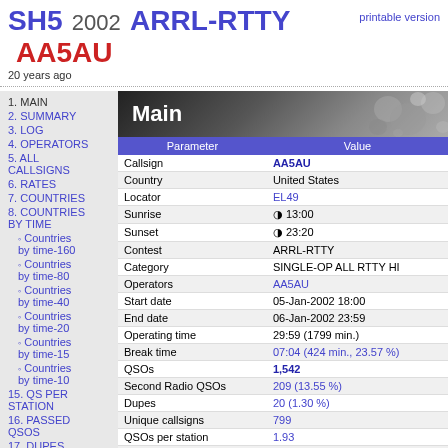SH5 2002 ARRL-RTTY AA5AU — printable version — 20 years ago
1. MAIN
2. SUMMARY
3. LOG
4. OPERATORS
5. ALL CALLSIGNS
6. RATES
7. COUNTRIES
8. COUNTRIES BY TIME
Countries by time-160
Countries by time-80
Countries by time-40
Countries by time-20
Countries by time-15
Countries by time-10
15. QS PER STATION
16. PASSED QSOS
17. DUPES
Main
| Parameter | Value |
| --- | --- |
| Callsign | AA5AU |
| Country | United States |
| Locator | EL49 |
| Sunrise | ◑ 13:00 |
| Sunset | ◑ 23:20 |
| Contest | ARRL-RTTY |
| Category | SINGLE-OP ALL RTTY HI |
| Operators | AA5AU |
| Start date | 05-Jan-2002 18:00 |
| End date | 06-Jan-2002 23:59 |
| Operating time | 29:59 (1799 min.) |
| Break time | 07:04 (424 min., 23.57 %) |
| QSOs | 1,542 |
| Second Radio QSOs | 209 (13.55 %) |
| Dupes | 20 (1.30 %) |
| Unique callsigns | 799 |
| QSOs per station | 1.93 |
| Kilometers per QSO | 3,220 km |
| Countries | 60 |
| Locators | 47 (14.51 %) |
| Moves | 853 |
| Claimed score | 175,030 pts |